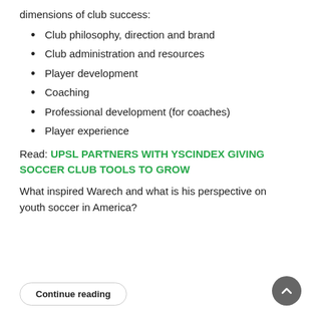dimensions of club success:
Club philosophy, direction and brand
Club administration and resources
Player development
Coaching
Professional development (for coaches)
Player experience
Read: UPSL PARTNERS WITH YSCINDEX GIVING SOCCER CLUB TOOLS TO GROW
What inspired Warech and what is his perspective on youth soccer in America?
Continue reading